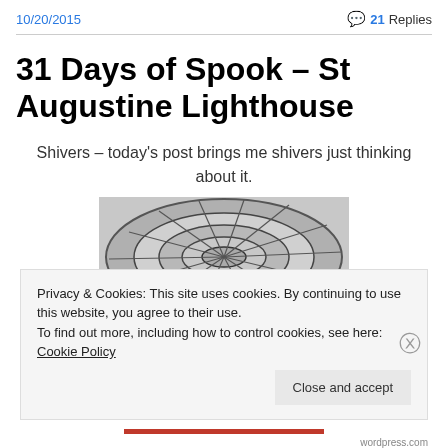10/20/2015   💬 21 Replies
31 Days of Spook – St Augustine Lighthouse
Shivers – today's post brings me shivers just thinking about it.
[Figure (photo): Looking down from above at a spiral staircase inside a lighthouse, circular metal steps visible from a bird's-eye view.]
Privacy & Cookies: This site uses cookies. By continuing to use this website, you agree to their use.
To find out more, including how to control cookies, see here: Cookie Policy
Close and accept